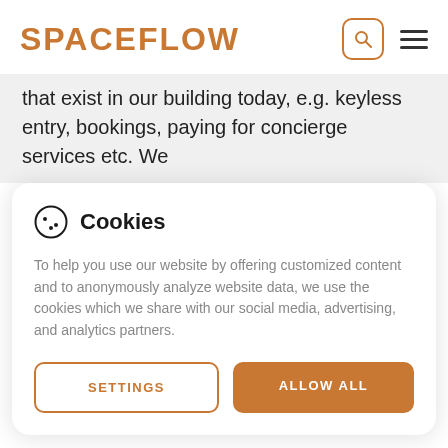SPACEFLOW
that exist in our building today, e.g. keyless entry, bookings, paying for concierge services etc. We
Cookies
To help you use our website by offering customized content and to anonymously analyze website data, we use the cookies which we share with our social media, advertising, and analytics partners.
SETTINGS   ALLOW ALL
30+ M